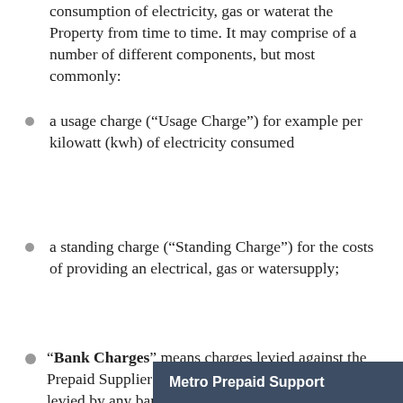consumption of electricity, gas or waterat the Property from time to time. It may comprise of a number of different components, but most commonly:
a usage charge (“Usage Charge”) for example per kilowatt (kwh) of electricity consumed
a standing charge (“Standing Charge”) for the costs of providing an electrical, gas or watersupply;
“Bank Charges” means charges levied against the Prepaid Supplier (including but not limited to those levied by any bank, payment gateway or card mercha…
Metro Prepaid Support